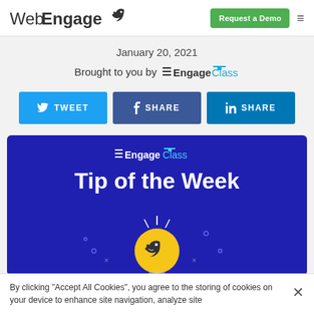WebEngage [logo] | Request a Demo [button] | menu
January 20, 2021
Brought to you by EngageClass
[Figure (infographic): Three social sharing buttons: TWEET (Twitter blue), SHARE (Facebook dark blue), SHARE (LinkedIn blue)]
[Figure (infographic): Dark blue banner with EngageClass logo and 'Tip of the Week' title, with a light bulb illustration at the bottom]
By clicking "Accept All Cookies", you agree to the storing of cookies on your device to enhance site navigation, analyze site